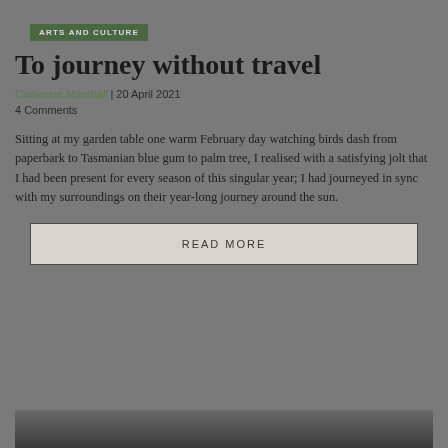ARTS AND CULTURE
To journey without travel
Catherine Marshall | 20 April 2021
4 Comments
Sitting at my garden table one warm February day watching birds dash from paperbark to Tasmanian blue gum to palm tree, I realised with a satisfying jolt that I had been present for every season of this singular year; I had journeyed in sync with my surroundings on their year-long journey around the sun.
READ MORE
[Figure (photo): Dark photograph partially visible at bottom of page]